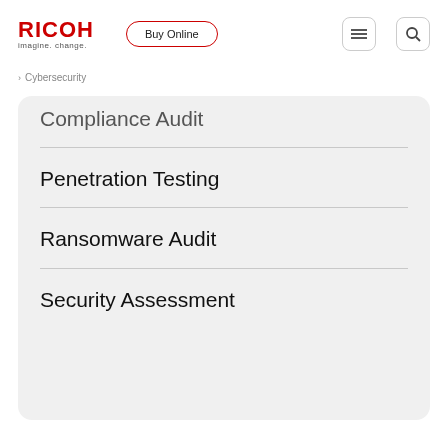[Figure (logo): RICOH logo with tagline 'imagine. change.' and navigation buttons including 'Buy Online', hamburger menu, and search icon]
Cybersecurity
Compliance Audit
Penetration Testing
Ransomware Audit
Security Assessment